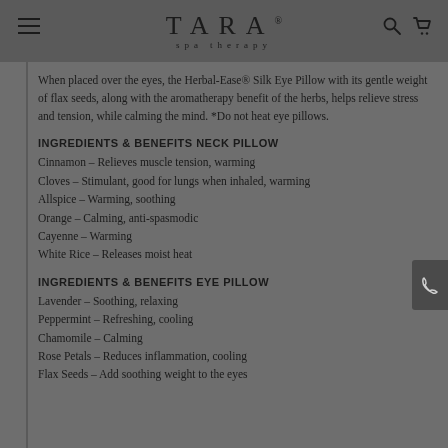TARA® spa therapy
When placed over the eyes, the Herbal-Ease® Silk Eye Pillow with its gentle weight of flax seeds, along with the aromatherapy benefit of the herbs, helps relieve stress and tension, while calming the mind. *Do not heat eye pillows.
INGREDIENTS & BENEFITS NECK PILLOW
Cinnamon – Relieves muscle tension, warming
Cloves – Stimulant, good for lungs when inhaled, warming
Allspice – Warming, soothing
Orange – Calming, anti-spasmodic
Cayenne – Warming
White Rice – Releases moist heat
INGREDIENTS & BENEFITS EYE PILLOW
Lavender – Soothing, relaxing
Peppermint – Refreshing, cooling
Chamomile – Calming
Rose Petals – Reduces inflammation, cooling
Flax Seeds – Add soothing weight to the eyes